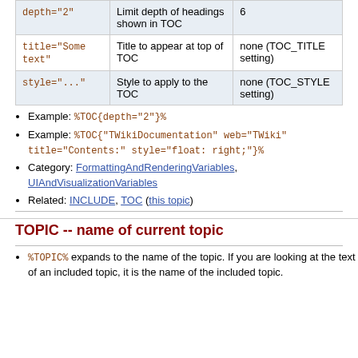| Parameter | Description | Default |
| --- | --- | --- |
| depth="2" | Limit depth of headings shown in TOC | 6 |
| title="Some text" | Title to appear at top of TOC | none (TOC_TITLE setting) |
| style="..." | Style to apply to the TOC | none (TOC_STYLE setting) |
Example: %TOC{depth="2"}%
Example: %TOC{"TWikiDocumentation" web="TWiki" title="Contents:" style="float: right;"}%
Category: FormattingAndRenderingVariables, UIAndVisualizationVariables
Related: INCLUDE, TOC (this topic)
TOPIC -- name of current topic
%TOPIC% expands to the name of the topic. If you are looking at the text of an included topic, it is the name of the included topic.